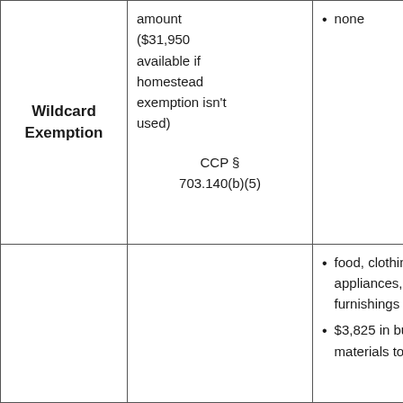|  | Federal Exemptions | California Exemptions |
| --- | --- | --- |
| Wildcard Exemption | amount ($31,950 available if homestead exemption isn't used)

CCP § 703.140(b)(5) | • none |
|  |  | • food, clothing, appliances, and furnishings
• $3,825 in building materials to |